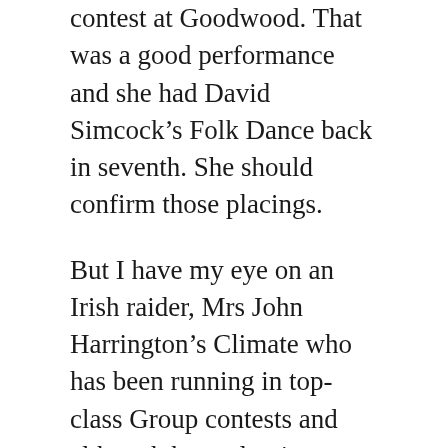contest at Goodwood. That was a good performance and she had David Simcock's Folk Dance back in seventh. She should confirm those placings.
But I have my eye on an Irish raider, Mrs John Harrington's Climate who has been running in top-class Group contests and although her only victory came at Navan last September, she has been close up in her races. Last time at Newmarket, she was a close-up fourth beaten only one and a half lengths behind Dreamloper, she can go well here.
At Beverley, the 2.40 is the bet365 Handicap and Daniel and Claire Kubler's Percy's Lad heads the weights and the betting for this